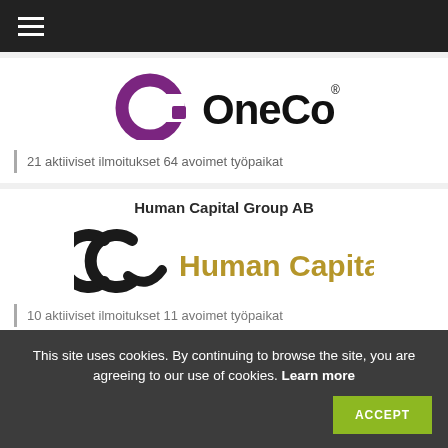≡ (navigation menu)
[Figure (logo): OneCo logo: purple alpha symbol on left and 'OneCo' text in black on right with registered trademark symbol]
21 aktiiviset ilmoitukset 64 avoimet työpaikat
Human Capital Group AB
[Figure (logo): Human Capital Group logo: stylized dark CC symbol on left and 'Human Capital' text in gold/olive on right]
10 aktiiviset ilmoitukset 11 avoimet työpaikat
This site uses cookies. By continuing to browse the site, you are agreeing to our use of cookies. Learn more